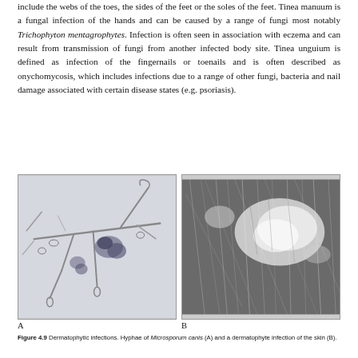include the webs of the toes, the sides of the feet or the soles of the feet. Tinea manuum is a fungal infection of the hands and can be caused by a range of fungi most notably Trichophyton mentagrophytes. Infection is often seen in association with eczema and can result from transmission of fungi from another infected body site. Tinea unguium is defined as infection of the fingernails or toenails and is often described as onychomycosis, which includes infections due to a range of other fungi, bacteria and nail damage associated with certain disease states (e.g. psoriasis).
[Figure (photo): Microscopy image (A) showing hyphae of Microsporum canis — fungal hyphae branching structures visible against a light background.]
[Figure (photo): Dermatophyte infection of the skin (B) — grayscale close-up image of skin showing patchy white lesion areas among hair.]
Figure 4.9 Dermatophytic infections. Hyphae of Microsporum canis (A) and a dermatophyte infection of the skin (B).